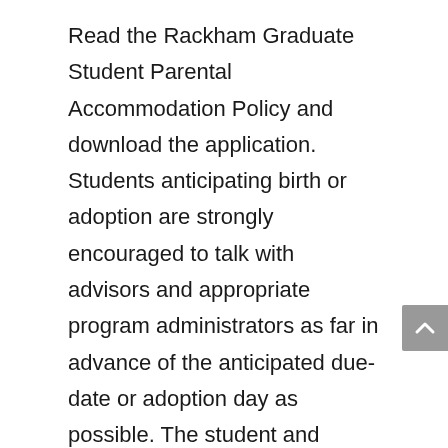Read the Rackham Graduate Student Parental Accommodation Policy and download the application. Students anticipating birth or adoption are strongly encouraged to talk with advisors and appropriate program administrators as far in advance of the anticipated due-date or adoption day as possible. The student and program advisor need to plan and adjust timetables to allow the student to meet academic responsibilities; to adapt schedules for completing time-sensitive research presentations or reports; and, when necessary, to adjust schedules for coursework, qualifying examinations, grant and publication deadlines, dissertation committee meetings, and other important degree milestones. Doctoral candidates should notify all members of their